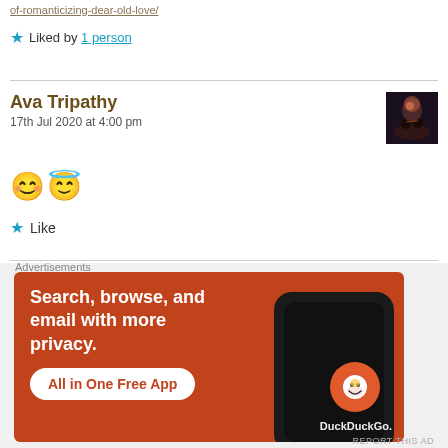of-romanticizing-dear-old-love/
★ Liked by 1 person
Ava Tripathy
17th Jul 2020 at 4:00 pm
[Figure (photo): Profile photo showing silhouettes of two people against a dark reddish sky]
😊😇
★ Like
Advertisements
[Figure (screenshot): DuckDuckGo advertisement banner on orange/red background reading 'Search, browse, and email with more privacy. All in One Free App' with a phone showing the DuckDuckGo logo]